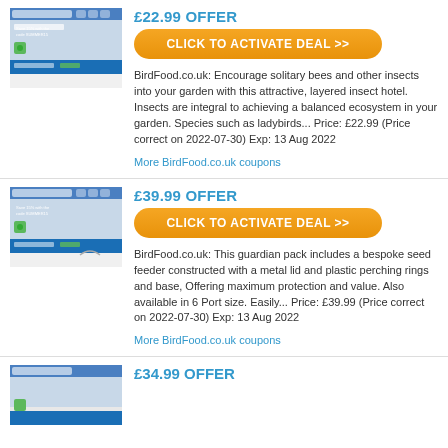£22.99 OFFER
[Figure (screenshot): Screenshot of BirdFood.co.uk website with 'Save 15% with the code SUMMER15' banner]
CLICK TO ACTIVATE DEAL >>
BirdFood.co.uk: Encourage solitary bees and other insects into your garden with this attractive, layered insect hotel. Insects are integral to achieving a balanced ecosystem in your garden. Species such as ladybirds... Price: £22.99 (Price correct on 2022-07-30) Exp: 13 Aug 2022
More BirdFood.co.uk coupons
£39.99 OFFER
[Figure (screenshot): Screenshot of BirdFood.co.uk website with 'Save 15% with the code SUMMER15' banner]
CLICK TO ACTIVATE DEAL >>
BirdFood.co.uk: This guardian pack includes a bespoke seed feeder constructed with a metal lid and plastic perching rings and base, Offering maximum protection and value. Also available in 6 Port size. Easily... Price: £39.99 (Price correct on 2022-07-30) Exp: 13 Aug 2022
More BirdFood.co.uk coupons
£34.99 OFFER